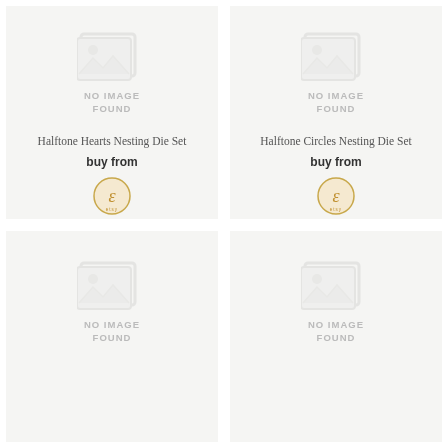[Figure (illustration): No image found placeholder with image icon, top-left cell]
Halftone Hearts Nesting Die Set
buy from
[Figure (logo): Etsy logo, top-left cell]
[Figure (illustration): No image found placeholder with image icon, top-right cell]
Halftone Circles Nesting Die Set
buy from
[Figure (logo): Etsy logo, top-right cell]
[Figure (illustration): No image found placeholder with image icon, bottom-left cell]
[Figure (illustration): No image found placeholder with image icon, bottom-right cell]